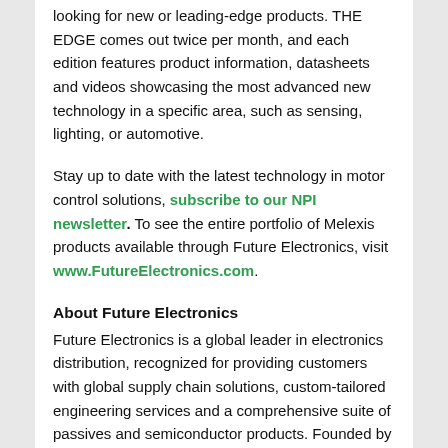looking for new or leading-edge products. THE EDGE comes out twice per month, and each edition features product information, datasheets and videos showcasing the most advanced new technology in a specific area, such as sensing, lighting, or automotive.
Stay up to date with the latest technology in motor control solutions, subscribe to our NPI newsletter. To see the entire portfolio of Melexis products available through Future Electronics, visit www.FutureElectronics.com.
About Future Electronics
Future Electronics is a global leader in electronics distribution, recognized for providing customers with global supply chain solutions, custom-tailored engineering services and a comprehensive suite of passives and semiconductor products. Founded by Robert Miller in 1968, Future Electronics has over 5,500 employees and operates in 169 offices in 44 countries around the world. Future Electronics is globally integrated, with a unified IT infrastructure that delivers real-time inventory availability and procurement support. With the industry's best ...